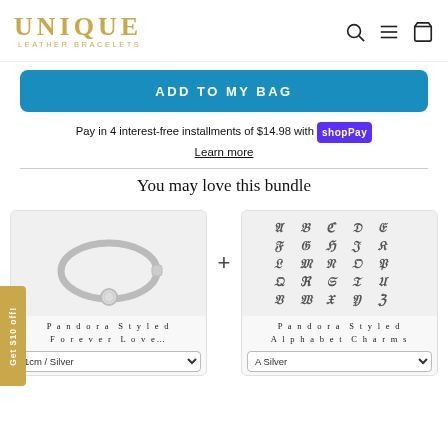UNIQUE LEATHER BRACELETS
ADD TO MY BAG
Pay in 4 interest-free installments of $14.98 with shopPay
Learn more
You may love this bundle
[Figure (photo): Product image of Pandora Styled Forever Love bracelet in silver]
Pandora Styled Forever Love…
1cm / Silver
[Figure (photo): Grid of Pandora Styled Alphabet Charms in silver showing letters A through Z in decorative font]
Pandora Styled Alphabet Charms
A Silver